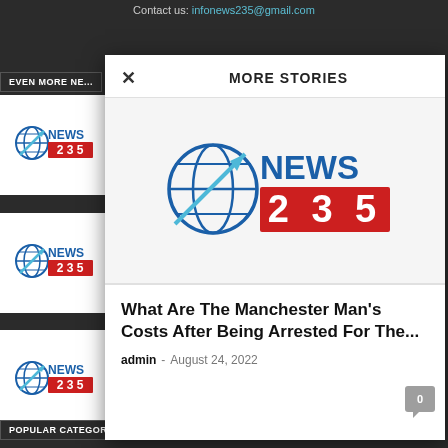Contact us: infonews235@gmail.com
EVEN MORE NE...
[Figure (logo): News 235 logo small - sidebar item 1]
[Figure (logo): News 235 logo small - sidebar item 2]
[Figure (logo): News 235 logo small - sidebar item 3]
POPULAR CATEGORY
MORE STORIES
[Figure (logo): News 235 large logo in modal]
What Are The Manchester Man's Costs After Being Arrested For The...
admin - August 24, 2022